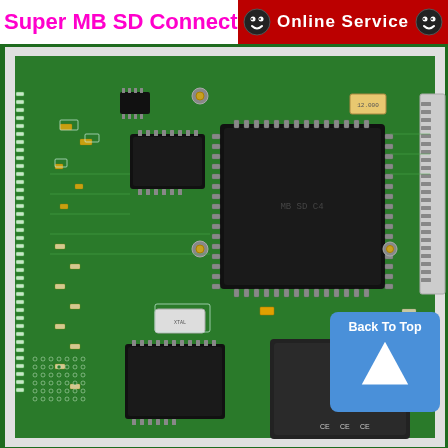Super MB SD Connect C4 Mot
Online Service
[Figure (photo): Close-up photograph of a green PCB (printed circuit board) for Mercedes-Benz Super MB SD Connect C4, showing multiple ICs, SMD components, crystal oscillators, edge connectors, and various surface-mount resistors and capacitors. A blue 'Back To Top' button overlay with upward arrow is visible in the lower-right area of the image.]